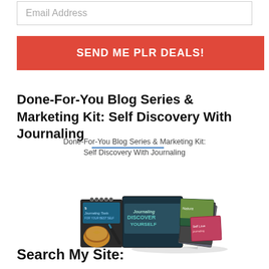Email Address
SEND ME PLR DEALS!
Done-For-You Blog Series & Marketing Kit: Self Discovery With Journaling
[Figure (illustration): Product bundle image showing books, journal cover with 'Journaling Discover Yourself', marketing materials, and a coffee cup with a pen on a spiral notebook.]
Done-For-You Blog Series & Marketing Kit: Self Discovery With Journaling
Search My Site: